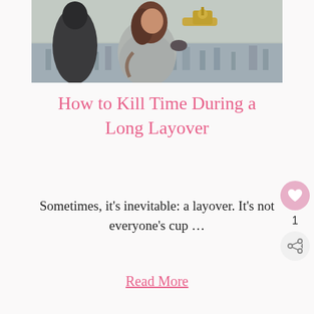[Figure (photo): Two people standing at a viewpoint overlooking a city, one using a coin-operated telescope/binoculars. The person in focus is wearing a light grey coat with brown hair. Cityscape visible in the background.]
How to Kill Time During a Long Layover
Sometimes, it’s inevitable: a layover. It’s not everyone’s cup …
Read More